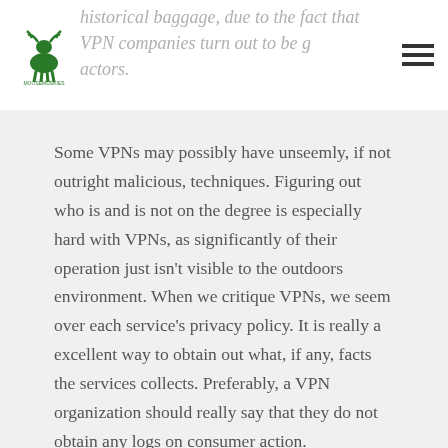historical baggage, due to the fact that VPN companies turn out to be good actors.
Some VPNs may possibly have unseemly, if not outright malicious, techniques. Figuring out who is and is not on the degree is especially hard with VPNs, as significantly of their operation just isn't visible to the outdoors environment. When we critique VPNs, we seem over each service's privacy policy. It is really a excellent way to obtain out what, if any, facts the services collects. Preferably, a VPN organization should really say that they do not obtain any logs on consumer action.